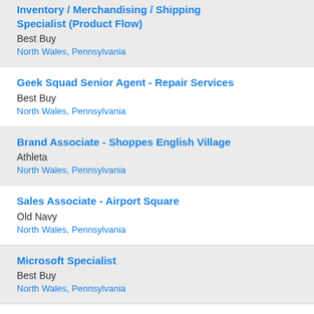Inventory / Merchandising / Shipping Specialist (Product Flow)
Best Buy
North Wales, Pennsylvania
Geek Squad Senior Agent - Repair Services
Best Buy
North Wales, Pennsylvania
Brand Associate - Shoppes English Village
Athleta
North Wales, Pennsylvania
Sales Associate - Airport Square
Old Navy
North Wales, Pennsylvania
Microsoft Specialist
Best Buy
North Wales, Pennsylvania
Inventory / Merchandising / Shipping